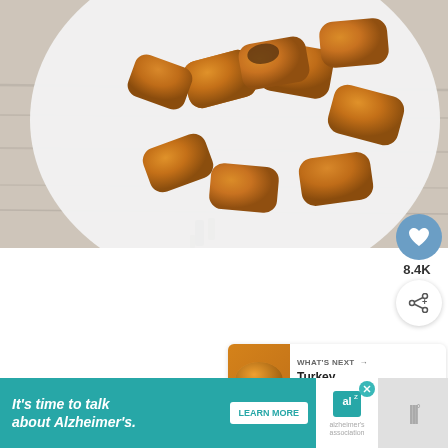[Figure (photo): Overhead photo of golden brown dinner rolls/bread rolls on a white oval plate, set on a white/grey wood plank table surface]
8.4K
WHAT'S NEXT → Turkey Sausage Eg…
It's time to talk about Alzheimer's. LEARN MORE